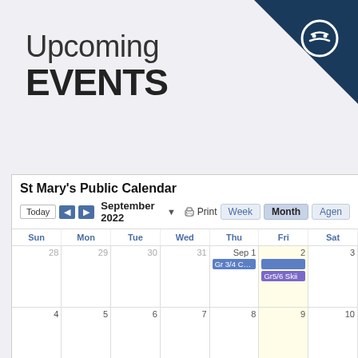Upcoming EVENTS
[Figure (screenshot): St Mary's Public Calendar screenshot showing September 2022 monthly view with navigation controls, day-of-week headers (Sun–Sat), dates 28–31 (Aug), Sep 1–10, and events: 'Gr 3/4 Camp - Kinglake Forest Ad' (blue, spanning Tue-Fri), 'Gr5/6 Skii' (purple, on Fri Sep 2). Friday Sep 2 column is highlighted yellow as today.]